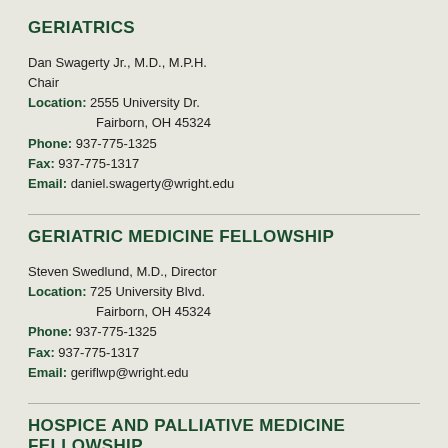GERIATRICS
Dan Swagerty Jr., M.D., M.P.H.
Chair
Location: 2555 University Dr.
       Fairborn, OH 45324
Phone: 937-775-1325
Fax: 937-775-1317
Email: daniel.swagerty@wright.edu
GERIATRIC MEDICINE FELLOWSHIP
Steven Swedlund, M.D., Director
Location: 725 University Blvd.
       Fairborn, OH 45324
Phone: 937-775-1325
Fax: 937-775-1317
Email: geriflwp@wright.edu
HOSPICE AND PALLIATIVE MEDICINE FELLOWSHIP
Dan Swagerty Jr., M.D., M.P.H.
Interim Program Director
Location: 725 University Blvd.
       Fairborn, OH 45324